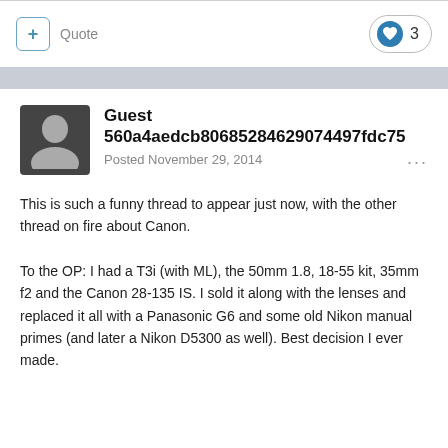+ Quote  ♥ 3
Guest 560a4aedcb80685284629074497fdc75
Posted November 29, 2014
This is such a funny thread to appear just now, with the other thread on fire about Canon.
To the OP: I had a T3i (with ML), the 50mm 1.8, 18-55 kit, 35mm f2 and the Canon 28-135 IS. I sold it along with the lenses and replaced it all with a Panasonic G6 and some old Nikon manual primes (and later a Nikon D5300 as well). Best decision I ever made.